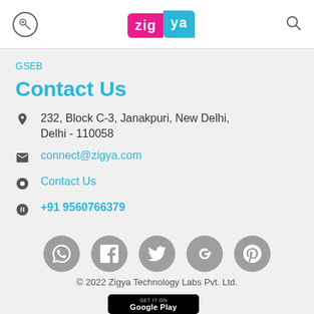Zigya
GSEB
Contact Us
232, Block C-3, Janakpuri, New Delhi, Delhi - 110058
connect@zigya.com
Contact Us
+91 9560766379
[Figure (infographic): Social media icons row: WhatsApp, Facebook, Twitter, Google+, Pinterest — all grey circular buttons]
© 2022 Zigya Technology Labs Pvt. Ltd.
[Figure (logo): Google Play store badge at bottom]